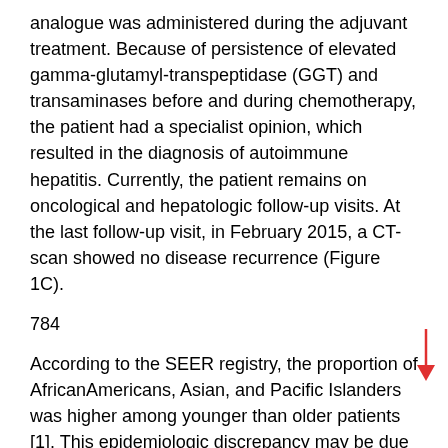analogue was administered during the adjuvant treatment. Because of persistence of elevated gamma-glutamyl-transpeptidase (GGT) and transaminases before and during chemotherapy, the patient had a specialist opinion, which resulted in the diagnosis of autoimmune hepatitis. Currently, the patient remains on oncological and hepatologic follow-up visits. At the last follow-up visit, in February 2015, a CT-scan showed no disease recurrence (Figure 1C).
784
According to the SEER registry, the proportion of AfricanAmericans, Asian, and Pacific Islanders was higher among younger than older patients [1]. This epidemiologic discrepancy may be due to differences in carcinogens exposure or to biologic differences such as inefficient cell cycle arrest and DNA damage accumulation or cytochrome polymorphisms [9,12,13]. Regarding the clinico-pathologic features of LC in the young population, most retrospective series with sample sizes of more than 100 patients (Table 2) reported a higher proportion of women and